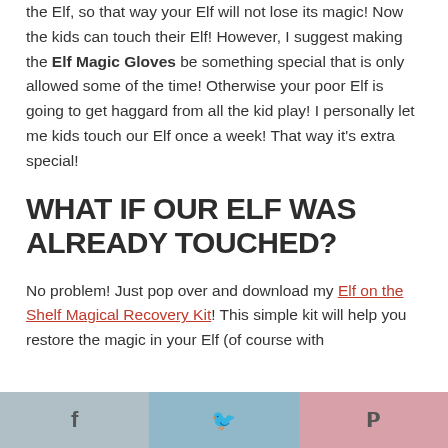the Elf, so that way your Elf will not lose its magic! Now the kids can touch their Elf! However, I suggest making the Elf Magic Gloves be something special that is only allowed some of the time! Otherwise your poor Elf is going to get haggard from all the kid play! I personally let me kids touch our Elf once a week! That way it's extra special!
WHAT IF OUR ELF WAS ALREADY TOUCHED?
No problem! Just pop over and download my Elf on the Shelf Magical Recovery Kit! This simple kit will help you restore the magic in your Elf (of course with